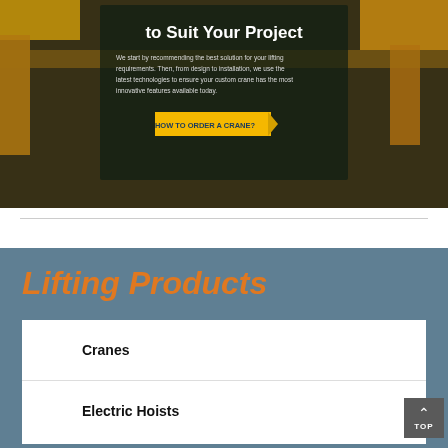[Figure (photo): Hero banner showing yellow overhead cranes in an industrial facility with dark overlay. Text reads 'to Suit Your Project' with a paragraph about recommending lifting solutions, and a call-to-action button 'HOW TO ORDER A CRANE?']
to Suit Your Project
We start by recommending the best solution for your lifting requirements. Then, from design to installation, we use the latest technologies to ensure your custom crane has the most innovative features available today.
Lifting Products
Cranes
Electric Hoists